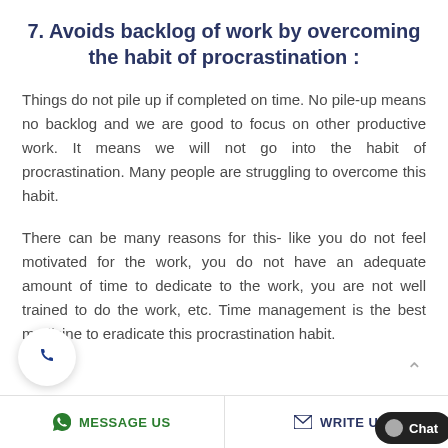7. Avoids backlog of work by overcoming the habit of procrastination :
Things do not pile up if completed on time. No pile-up means no backlog and we are good to focus on other productive work. It means we will not go into the habit of procrastination. Many people are struggling to overcome this habit.
There can be many reasons for this- like you do not feel motivated for the work, you do not have an adequate amount of time to dedicate to the work, you are not well trained to do the work, etc. Time management is the best medicine to eradicate this procrastination habit.
MESSAGE US   WRITE US   Chat